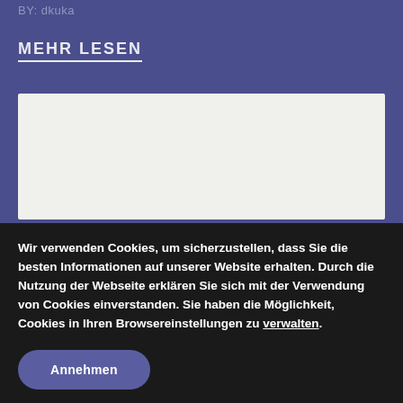BY: dkuka
MEHR LESEN
[Figure (other): White/light gray rectangular content placeholder box on blue-purple background]
Wir verwenden Cookies, um sicherzustellen, dass Sie die besten Informationen auf unserer Website erhalten. Durch die Nutzung der Webseite erklären Sie sich mit der Verwendung von Cookies einverstanden. Sie haben die Möglichkeit, Cookies in Ihren Browsereinstellungen zu verwalten.
Annehmen